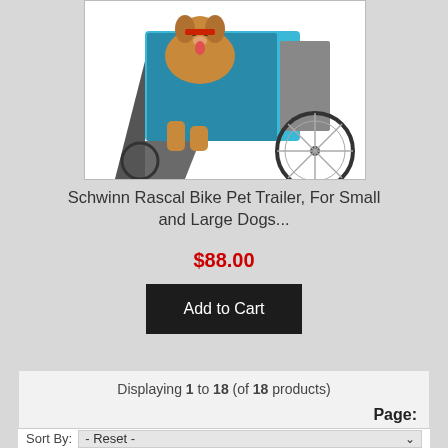[Figure (photo): Product photo of Schwinn Rascal Bike Pet Trailer — a blue/teal bicycle trailer with large spoked wheels and an open front flap, with a dog (golden/lab type) visible inside]
Schwinn Rascal Bike Pet Trailer, For Small and Large Dogs...
$88.00
Add to Cart
Displaying 1 to 18 (of 18 products)
Page:
Sort By:
- Reset -